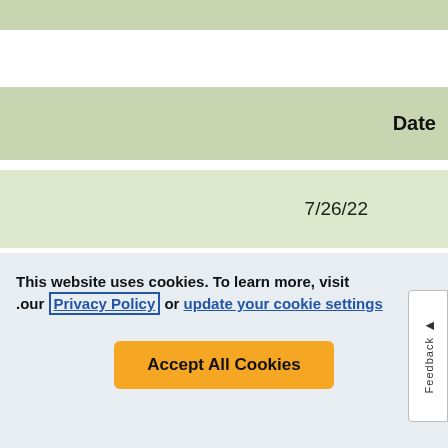| Date | Counties Served |
| --- | --- |
| 7/26/22 |  |
This website uses cookies. To learn more, visit our Privacy Policy or update your cookie settings
Accept All Cookies